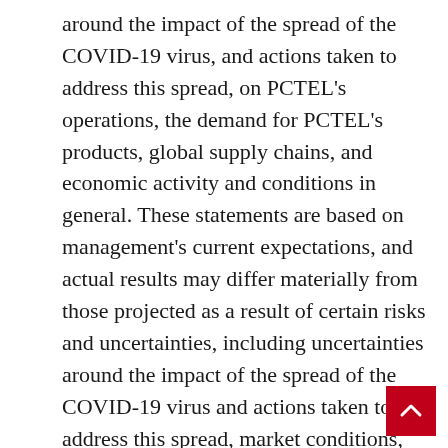around the impact of the spread of the COVID-19 virus, and actions taken to address this spread, on PCTEL's operations, the demand for PCTEL's products, global supply chains, and economic activity and conditions in general. These statements are based on management's current expectations, and actual results may differ materially from those projected as a result of certain risks and uncertainties, including uncertainties around the impact of the spread of the COVID-19 virus and actions taken to address this spread, market conditions, economic factors (such as interest rate and currency exchange rate fluctuations), customer demand for PCTEL's products including demand from customers in China, growth and continuity in PCTEL's defined market segments, and PCTEL's ability to grow its